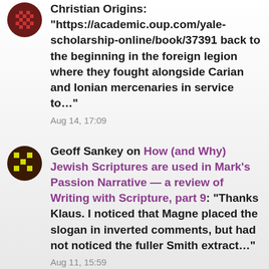Christian Origins: “https://academic.oup.com/yale-scholarship-online/book/37391 back to the beginning in the foreign legion where they fought alongside Carian and Ionian mercenaries in service to…”
Aug 14, 17:09
Geoff Sankey on How (and Why) Jewish Scriptures are used in Mark’s Passion Narrative — a review of Writing with Scripture, part 9: “Thanks Klaus. I noticed that Magne placed the slogan in inverted comments, but had not noticed the fuller Smith extract…”
Aug 11, 15:59
Klaus Schilling on How (and Why) Jewish